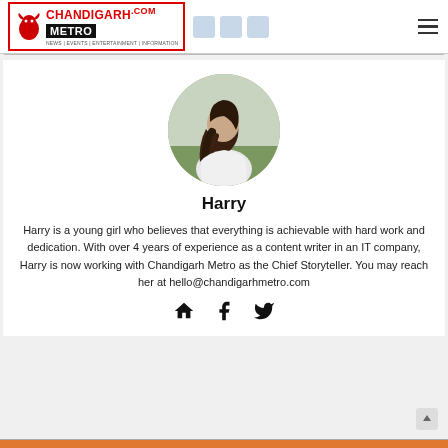Chandigarh Metro .com — NEWS | EVENTS | ENTERTAINMENT | INFORMATION
[Figure (photo): Circular profile photo of a young woman with long dark hair seen from behind, outdoors in a grassy setting, wearing a white top]
Harry
Harry is a young girl who believes that everything is achievable with hard work and dedication. With over 4 years of experience as a content writer in an IT company, Harry is now working with Chandigarh Metro as the Chief Storyteller. You may reach her at hello@chandigarhmetro.com
[Figure (illustration): Social media icons: home icon, Facebook icon, Twitter/X icon]